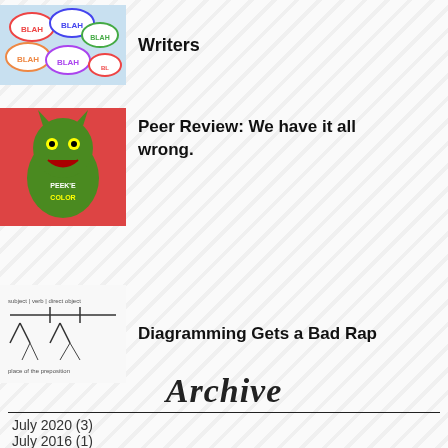[Figure (illustration): Colorful speech bubbles with BLAH text]
Writers
[Figure (illustration): Green monster / devil character with PEEK'E COLOR text]
Peer Review: We have it all wrong.
[Figure (illustration): Sentence diagramming illustration with subject, verb, direct object labels]
Diagramming Gets a Bad Rap
Archive
July 2020 (3)
July 2016 (1)